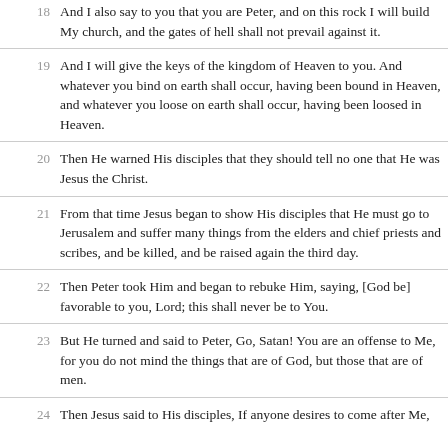18 And I also say to you that you are Peter, and on this rock I will build My church, and the gates of hell shall not prevail against it.
19 And I will give the keys of the kingdom of Heaven to you. And whatever you bind on earth shall occur, having been bound in Heaven, and whatever you loose on earth shall occur, having been loosed in Heaven.
20 Then He warned His disciples that they should tell no one that He was Jesus the Christ.
21 From that time Jesus began to show His disciples that He must go to Jerusalem and suffer many things from the elders and chief priests and scribes, and be killed, and be raised again the third day.
22 Then Peter took Him and began to rebuke Him, saying, [God be] favorable to you, Lord; this shall never be to You.
23 But He turned and said to Peter, Go, Satan! You are an offense to Me, for you do not mind the things that are of God, but those that are of men.
24 Then Jesus said to His disciples, If anyone desires to come after Me...